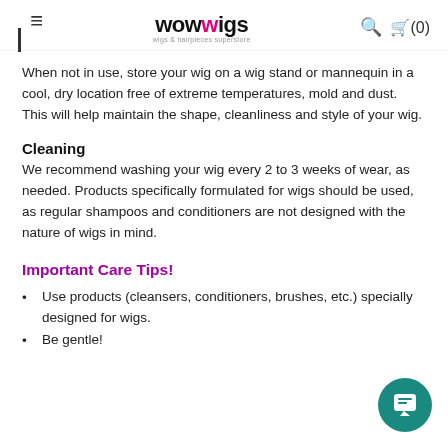wowwigs — wigs & hairpieces superstore
When not in use, store your wig on a wig stand or mannequin in a cool, dry location free of extreme temperatures, mold and dust. This will help maintain the shape, cleanliness and style of your wig.
Cleaning
We recommend washing your wig every 2 to 3 weeks of wear, as needed. Products specifically formulated for wigs should be used, as regular shampoos and conditioners are not designed with the nature of wigs in mind.
Important Care Tips!
Use products (cleansers, conditioners, brushes, etc.) specially designed for wigs.
Be gentle!